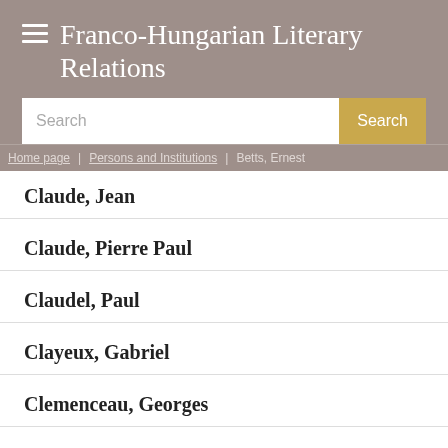Franco-Hungarian Literary Relations
Search
Home page > Persons and Institutions > Betts, Ernest
Claude, Jean
Claude, Pierre Paul
Claudel, Paul
Clayeux, Gabriel
Clemenceau, Georges